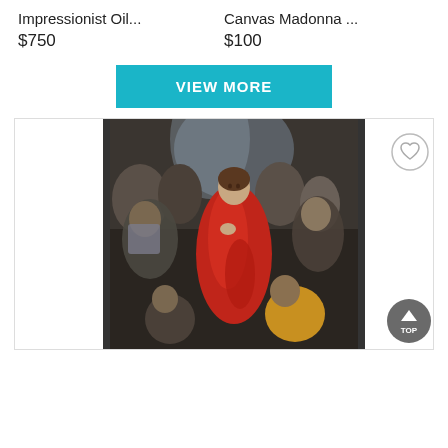Impressionist Oil...
$750
Canvas Madonna ...
$100
VIEW MORE
[Figure (illustration): Classical painting showing a figure in red robes (Christ) surrounded by a crowd, resembling El Greco's Disrobing of Christ style. A heart/favorite icon circle is visible top right. A dark gray 'TOP' scroll button is at bottom right.]